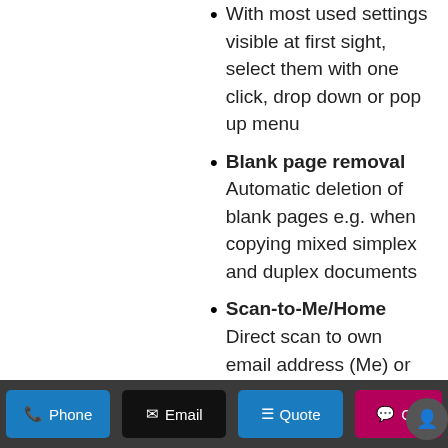With most used settings visible at first sight, select them with one click, drop down or pop up menu
Blank page removal Automatic deletion of blank pages e.g. when copying mixed simplex and duplex documents
Scan-to-Me/Home Direct scan to own email address (Me) or SMB folder
Phone  Email  Quote  Ch